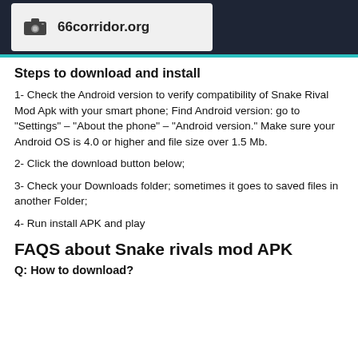66corridor.org
Steps to download and install
1- Check the Android version to verify compatibility of Snake Rival Mod Apk with your smart phone; Find Android version: go to “Settings” – “About the phone” – “Android version.” Make sure your Android OS is 4.0 or higher and file size over 1.5 Mb.
2- Click the download button below;
3- Check your Downloads folder; sometimes it goes to saved files in another Folder;
4- Run install APK and play
FAQS about Snake rivals mod APK
Q: How to download?